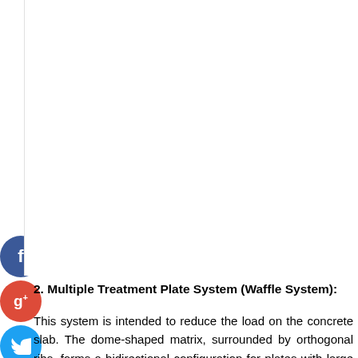[Figure (other): White blank area representing image placeholder at top of page]
2. Multiple Treatment Plate System (Waffle System):
This system is intended to reduce the load on the concrete slab. The dome-shaped matrix, surrounded by orthogonal ribs, forms a bidirectional configuration for plates with large cross-sections. The voids between all the domes reduce dead weight, as part of the ceiling is smaller than flat ceilings due to